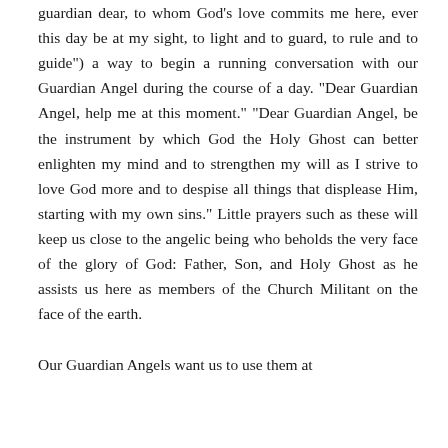guardian dear, to whom God's love commits me here, ever this day be at my sight, to light and to guard, to rule and to guide") a way to begin a running conversation with our Guardian Angel during the course of a day. "Dear Guardian Angel, help me at this moment." "Dear Guardian Angel, be the instrument by which God the Holy Ghost can better enlighten my mind and to strengthen my will as I strive to love God more and to despise all things that displease Him, starting with my own sins." Little prayers such as these will keep us close to the angelic being who beholds the very face of the glory of God: Father, Son, and Holy Ghost as he assists us here as members of the Church Militant on the face of the earth.

Our Guardian Angels want us to use them at